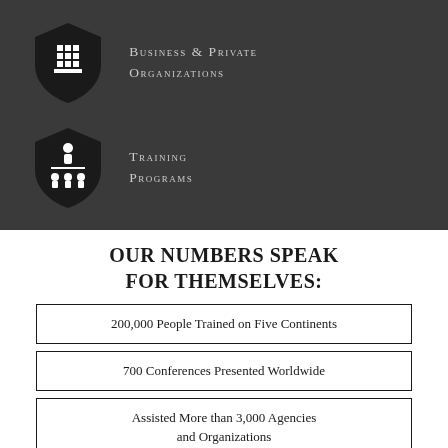[Figure (infographic): Dark gray background section with two shield icons and labels: 'Business & Private Organizations' and 'Training Programs']
OUR NUMBERS SPEAK FOR THEMSELVES:
200,000 People Trained on Five Continents
700 Conferences Presented Worldwide
Assisted More than 3,000 Agencies and Organizations